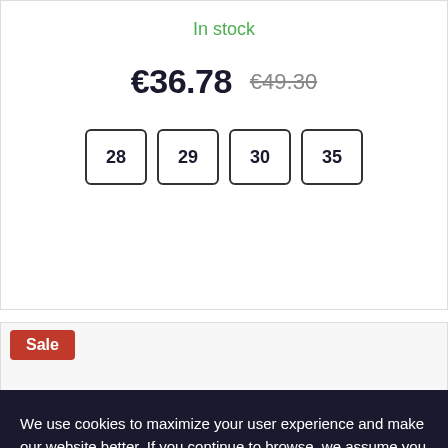In stock
€36.78  €49.30
28  29  30  35
Sale
We use cookies to maximize your user experience and make our website better. If you continue to browse, we assume you are OK with this. Interested in details?
Settings
Accept